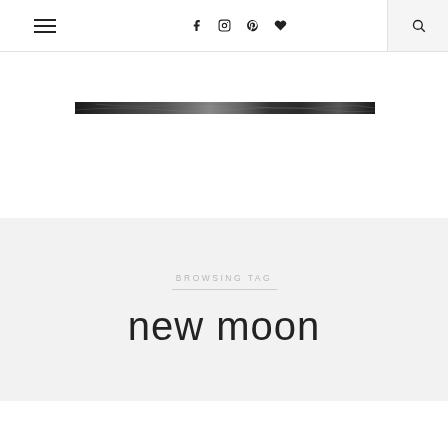Navigation bar with hamburger menu, social icons (Facebook, Instagram, Pinterest, heart/favorites), and search button
[Figure (photo): Narrow horizontal dark marble/stone texture image strip]
BROWSING TAG
new moon